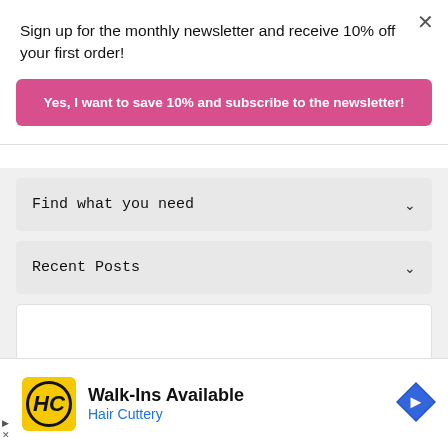Sign up for the monthly newsletter and receive 10% off your first order!
Yes, I want to save 10% and subscribe to the newsletter!
Find what you need
Recent Posts
[Figure (screenshot): Advertisement for Hair Cuttery: Walk-Ins Available with HC logo and navigation arrow icon]